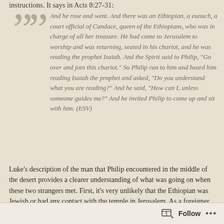instructions. It says in Acts 8:27-31:
And he rose and went. And there was an Ethiopian, a eunuch, a court official of Candace, queen of the Ethiopians, who was in charge of all her treasure. He had come to Jerusalem to worship and was returning, seated in his chariot, and he was reading the prophet Isaiah. And the Spirit said to Philip, "Go over and join this chariot." So Philip ran to him and heard him reading Isaiah the prophet and asked, "Do you understand what you are reading?" And he said, "How can I, unless someone guides me?" And he invited Philip to come up and sit with him. (ESV)
Luke's description of the man that Philip encountered in the middle of the desert provides a clearer understanding of what was going on when these two strangers met. First, it's very unlikely that the Ethiopian was Jewish or had any contact with the temple in Jerusalem. As a foreigner and a man that had been castrated (G2135), the Ethiopian was excluded from being a member of the Jewish congregation (Deuteronomy 23:1). The
Follow ...